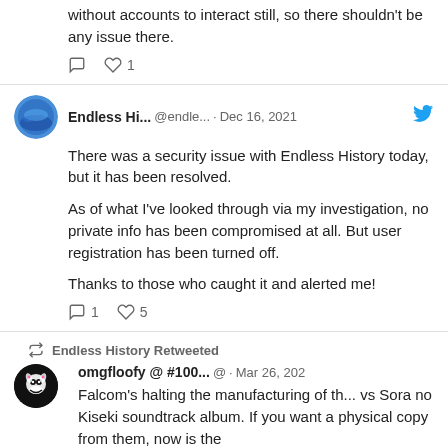without accounts to interact still, so there shouldn't be any issue there.
1 like
Endless Hi... @endle... · Dec 16, 2021
There was a security issue with Endless History today, but it has been resolved.

As of what I've looked through via my investigation, no private info has been compromised at all. But user registration has been turned off.

Thanks to those who caught it and alerted me!
1 reply, 5 likes
Endless History Retweeted
omgfloofy @ #100... @ · Mar 26, 202
Falcom's halting the manufacturing of th... vs Sora no Kiseki soundtrack album. If you want a physical copy from them, now is the